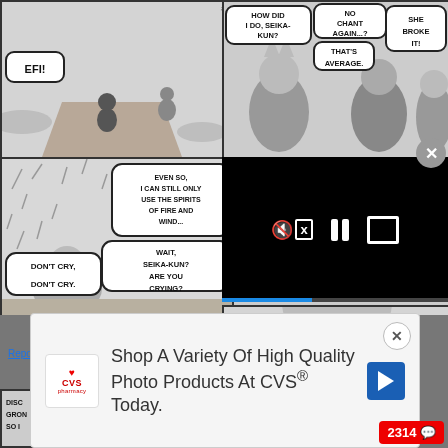[Figure (illustration): Screenshot of a manga reader webpage showing multiple manga panels with speech bubbles, an embedded video player overlay, and an advertisement overlay. Top-left panel shows a character called 'Efi!' in a field. Top-right panel shows characters with speech bubbles: 'How did I do, Seika-kun?', 'No chant again...?', 'That's average.', 'She broke it!'. Bottom-left panel shows speech bubbles: 'Even so, I can still only use the spirits of fire and wind...', 'Wait, Seika-kun? Are you crying?', 'Don't cry, don't cry.'. Center-right area shows a black video player with mute, pause, and fullscreen buttons. Bottom-right panel shows partial characters with '...Ehehe', 'I was', 'No need to be so...'. A 'Report Ad' link appears. An advertisement overlay reads 'Shop A Variety Of High Quality Photo Products At CVS® Today.' with a CVS pharmacy logo. A comment count badge shows '2314'.]